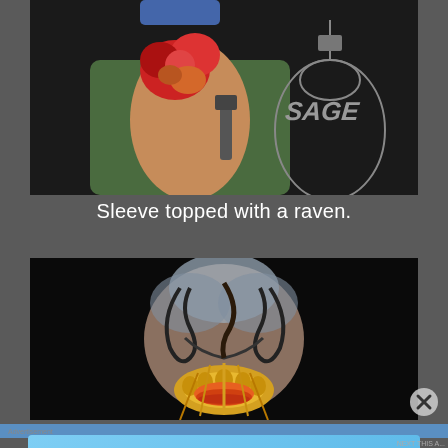[Figure (photo): Photo of a person's tattooed arm showing a large floral tattoo in red and orange. The person is wearing a green shirt. In the background on the right is a gray logo reading 'SAGE' with a tattoo machine graphic.]
Sleeve topped with a raven.
[Figure (photo): Close-up photo of a detailed tattoo sleeve on an arm, showing intricate dark swirling designs with blue/gray clouds and a golden/yellow medallion or sun design at the bottom with orange and red details. Black background.]
[Figure (other): Advertisement banner for Day One journaling app. Shows 'DAY ONE' text with three illustrated app icons and the text 'The only journaling app you'll ever need.' on a light blue background.]